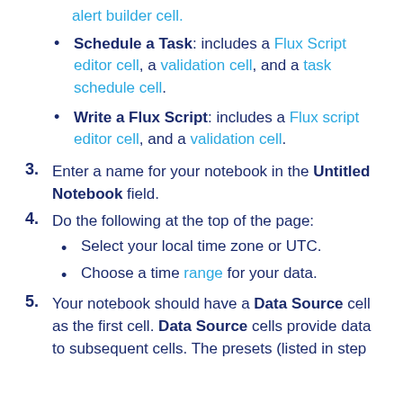alert builder cell.
Schedule a Task: includes a Flux Script editor cell, a validation cell, and a task schedule cell.
Write a Flux Script: includes a Flux script editor cell, and a validation cell.
3. Enter a name for your notebook in the Untitled Notebook field.
4. Do the following at the top of the page:
Select your local time zone or UTC.
Choose a time range for your data.
5. Your notebook should have a Data Source cell as the first cell. Data Source cells provide data to subsequent cells. The presets (listed in step